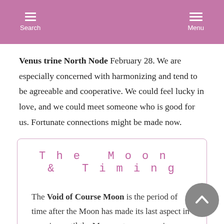Search  Menu
Venus trine North Node February 28. We are especially concerned with harmonizing and tend to be agreeable and cooperative. We could feel lucky in love, and we could meet someone who is good for us. Fortunate connections might be made now.
The Moon & Timing
The Void of Course Moon is the period of time after the Moon has made its last aspect in one sign until the Moon enters a new sign. During the Void